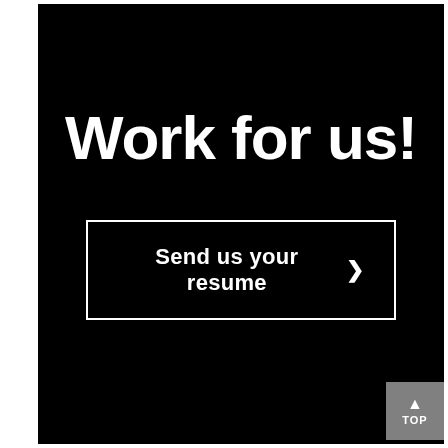Work for us!
Send us your resume ❯
▲ TOP